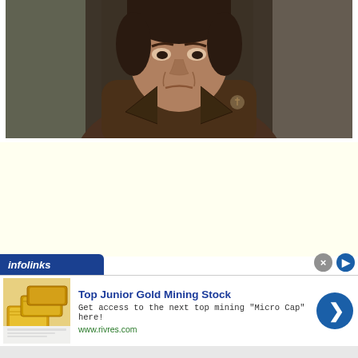[Figure (screenshot): Screenshot of a TV show or film still showing an older woman with a stern or sad expression, wearing a brown coat, against a blurred indoor background.]
[Figure (other): Yellow advertisement placeholder banner area (infolinks ad unit background).]
infolinks
[Figure (other): Advertisement banner: Top Junior Gold Mining Stock. Get access to the next top mining "Micro Cap" here! www.rivres.com. Shows gold bars image on left and a blue circular arrow button on right.]
Top Junior Gold Mining Stock
Get access to the next top mining "Micro Cap" here!
www.rivres.com